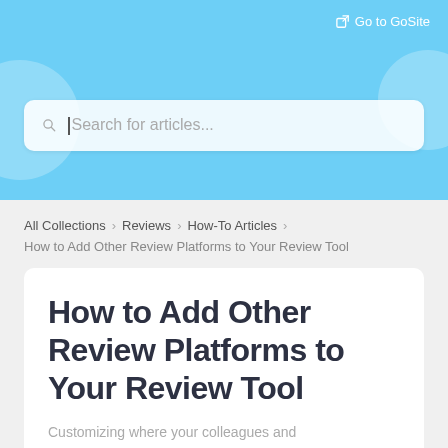[Figure (screenshot): Blue header background with circular bubble decorations and a search bar with placeholder text 'Search for articles...']
Go to GoSite
Search for articles...
All Collections > Reviews > How-To Articles >
How to Add Other Review Platforms to Your Review Tool
How to Add Other Review Platforms to Your Review Tool
Customizing where your colleagues and